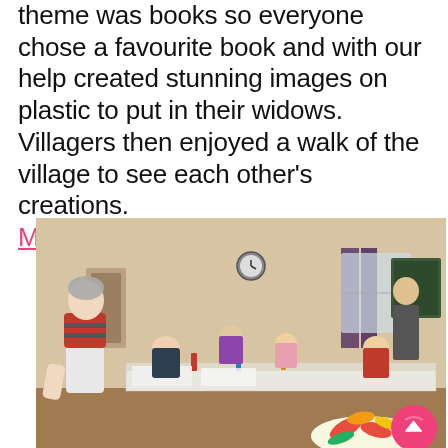theme was books so everyone chose a favourite book and with our help created stunning images on plastic to put in their widows. Villagers then enjoyed a walk of the village to see each other's creations.
More images here
[Figure (photo): Indoor community art workshop scene. A large room with cream walls and wooden flooring. A long table in the center is covered with newspapers, paints, brushes, and art materials. Multiple people of various ages are seated or standing around the tables working on artwork. A woman in a striped top and white apron stands prominently on the left. In the bottom right foreground, a colorful artwork on plastic is visible with red, yellow and green shapes. Windows with purple curtains are visible in the background, along with a chalkboard and a clock on the wall. A pink circular scroll-up button is visible in the bottom right corner of the image.]